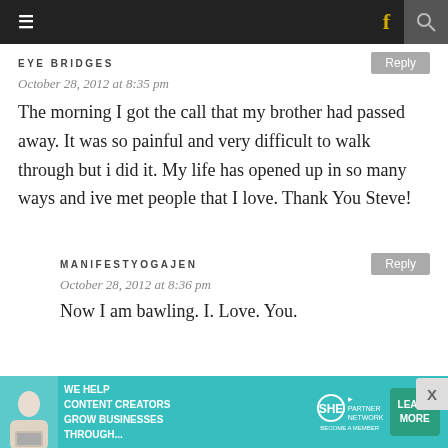≡   f  🔍
EYE BRIDGES
October 28, 2012 at 8:35 pm
The morning I got the call that my brother had passed away. It was so painful and very difficult to walk through but i did it. My life has opened up in so many ways and ive met people that I love. Thank You Steve!
MANIFESTYOGAJEN
October 28, 2012 at 8:36 pm
Now I am bawling. I. Love. You.
[Figure (screenshot): Advertisement banner for SHE Media Partner Network with teal background, woman with laptop, text 'We help content creators grow businesses through...', SHE logo, and Learn More button]